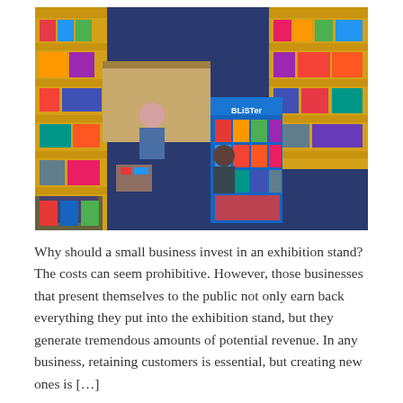[Figure (photo): Aerial/overhead view of a toy store interior showing colorful shelves stocked with toys, a blue display stand with 'BLISTER' text, a cashier desk area, and shoppers browsing.]
Why should a small business invest in an exhibition stand? The costs can seem prohibitive. However, those businesses that present themselves to the public not only earn back everything they put into the exhibition stand, but they generate tremendous amounts of potential revenue. In any business, retaining customers is essential, but creating new ones is […]